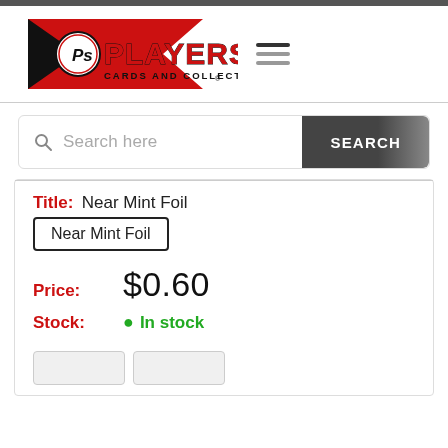[Figure (logo): Players Cards and Collectibles logo — red pennant shape with P's emblem, PLAYERS in large red/black 3D text, CARDS AND COLLECTIBLES in black text below]
Search here
SEARCH
Title:  Near Mint Foil
Near Mint Foil
Price:  $0.60
Stock:  In stock